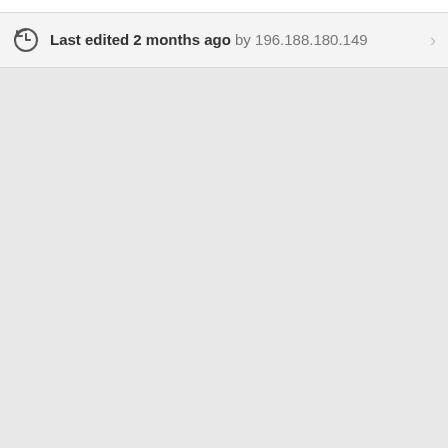Last edited 2 months ago by 196.188.180.149